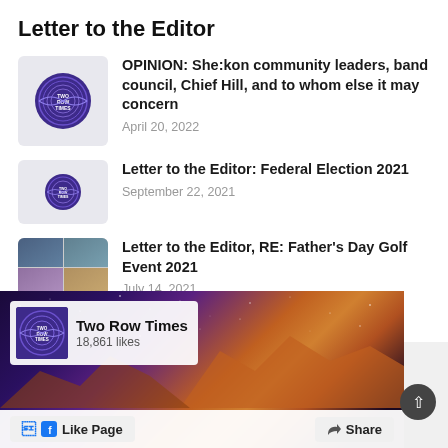Letter to the Editor
OPINION: She:kon community leaders, band council, Chief Hill, and to whom else it may concern
April 20, 2022
Letter to the Editor: Federal Election 2021
September 22, 2021
Letter to the Editor, RE: Father's Day Golf Event 2021
July 14, 2021
[Figure (screenshot): Two Row Times Facebook page widget showing logo, 18,861 likes, a space nebula cover photo, Like Page and Share buttons]